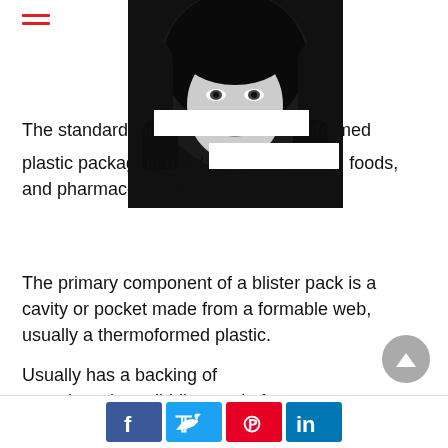[Figure (photo): Black and white close-up portrait photo of a young woman with long dark hair]
The standard ter…-formed plastic packaging used … foods, and pharmaceuticals.
The primary component of a blister pack is a cavity or pocket made from a formable web, usually a thermoformed plastic.
Usually has a backing of paperboard or a lidding seal of aluminum foil or plastic. A blister that folds onto itself is often called a clamshell.
Social share buttons: Facebook, Twitter, Pinterest, LinkedIn